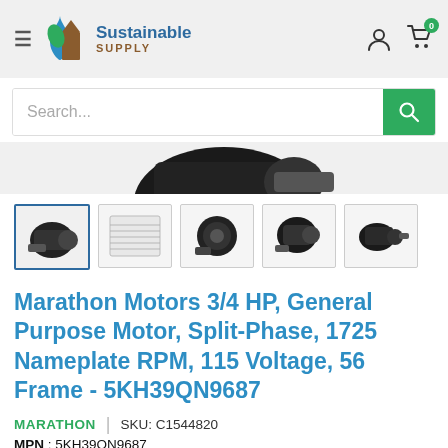Sustainable Supply — navigation header with hamburger menu, logo, user icon, cart (0)
Search...
[Figure (photo): Partial view of Marathon electric motor product image, cropped at top of visible area]
[Figure (photo): Five product thumbnail images of Marathon Motors 3/4 HP motor from various angles and label view; first thumbnail is selected (highlighted with blue border)]
Marathon Motors 3/4 HP, General Purpose Motor, Split-Phase, 1725 Nameplate RPM, 115 Voltage, 56 Frame - 5KH39QN9687
MARATHON   SKU: C1544820
MPN : 5KH39QN9687